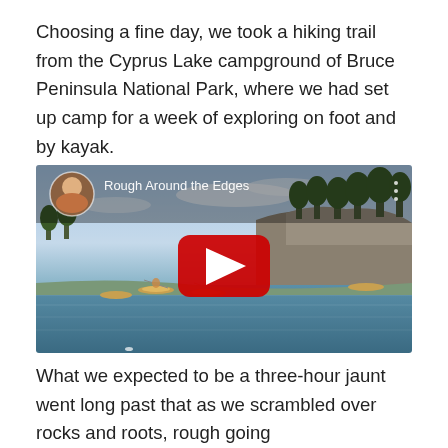Choosing a fine day, we took a hiking trail from the Cyprus Lake campground of Bruce Peninsula National Park, where we had set up camp for a week of exploring on foot and by kayak.
[Figure (screenshot): Embedded YouTube video thumbnail showing kayakers paddling near rocky shoreline with trees. Video title 'Rough Around the Edges' displayed in white text. YouTube play button (red with white triangle) centered. Circular avatar of a man in upper left corner. Three vertical dots menu in upper right.]
What we expected to be a three-hour jaunt went long past that as we scrambled over rocks and roots, rough going